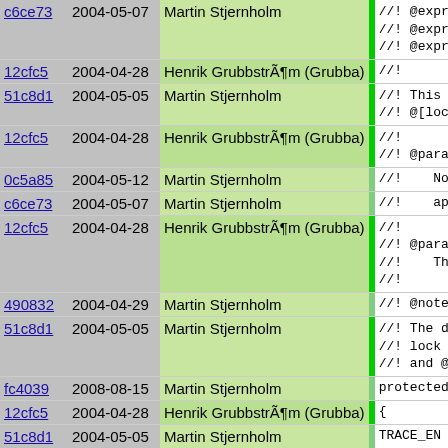| Hash | Date | Author |  | Code |
| --- | --- | --- | --- | --- |
| c6ce73 | 2004-05-07 | Martin Stjernholm |  | //! @expr{
//! @expr{
//! @expr{ |
| 12cfc5 | 2004-04-28 | Henrik Grubbström (Grubba) |  | //! |
| 51c8d1 | 2004-05-05 | Martin Stjernholm |  | //! This f
//! @[lock |
| 12cfc5 | 2004-04-28 | Henrik Grubbström (Grubba) |  | //!
//! @param |
| 0c5a85 | 2004-05-12 | Martin Stjernholm |  | //!    Norm |
| c6ce73 | 2004-05-07 | Martin Stjernholm |  | //!    appl |
| 12cfc5 | 2004-04-28 | Henrik Grubbström (Grubba) |  | //!
//! @param
//!    The
//! |
| 490832 | 2004-04-29 | Martin Stjernholm |  | //! @note |
| 51c8d1 | 2004-05-05 | Martin Stjernholm |  | //! The de
//! lock t
//! and @[ |
| fc4039 | 2008-08-15 | Martin Stjernholm |  | protected |
| 12cfc5 | 2004-04-28 | Henrik Grubbström (Grubba) |  | { |
| 51c8d1 | 2004-05-05 | Martin Stjernholm |  | TRACE_EN |
| 090cdd | 2004-05-04 | Henrik Grubbström (Grubba) |  |  |